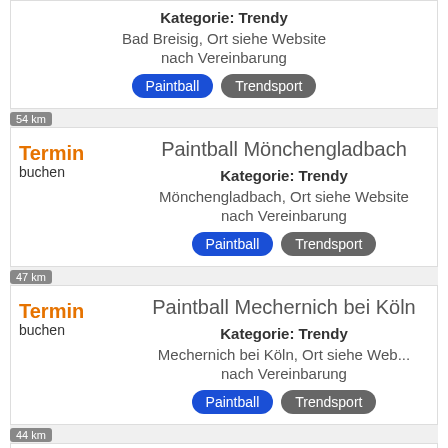Bad Breisig, Ort siehe Website
nach Vereinbarung
Paintball Trendsport
Kategorie: Trendy
54 km
Termin buchen
Paintball Mönchengladbach
Kategorie: Trendy
Mönchengladbach, Ort siehe Website
nach Vereinbarung
Paintball Trendsport
47 km
Termin buchen
Paintball Mechernich bei Köln
Kategorie: Trendy
Mechernich bei Köln, Ort siehe Web...
nach Vereinbarung
Paintball Trendsport
44 km
Termin buchen
Paintball Aachen
Kategorie: Trendy
Aachen, Ort siehe Website
nach Vereinbarung